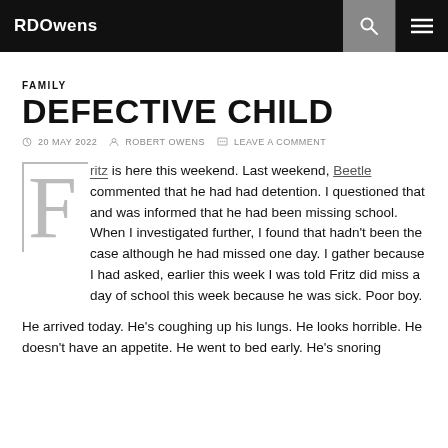RDOwens
FAMILY
DEFECTIVE CHILD
20 MAY 2022  ROBERT OWENS  LEAVE A COMMENT
Fritz is here this weekend. Last weekend, Beetle commented that he had had detention. I questioned that and was informed that he had been missing school. When I investigated further, I found that hadn't been the case although he had missed one day. I gather because I had asked, earlier this week I was told Fritz did miss a day of school this week because he was sick. Poor boy.
He arrived today. He's coughing up his lungs. He looks horrible. He doesn't have an appetite. He went to bed early. He's snoring